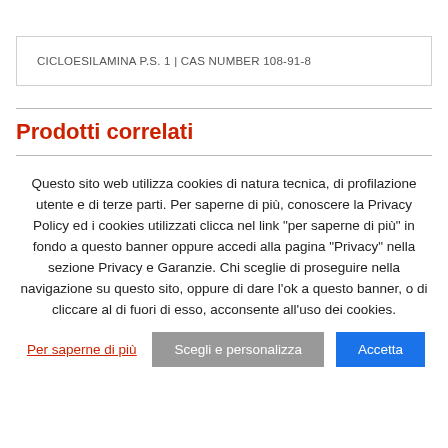CICLOESILAMINA P.S. 1 | CAS NUMBER 108-91-8
Prodotti correlati
Questo sito web utilizza cookies di natura tecnica, di profilazione utente e di terze parti. Per saperne di più, conoscere la Privacy Policy ed i cookies utilizzati clicca nel link "per saperne di più" in fondo a questo banner oppure accedi alla pagina "Privacy" nella sezione Privacy e Garanzie. Chi sceglie di proseguire nella navigazione su questo sito, oppure di dare l'ok a questo banner, o di cliccare al di fuori di esso, acconsente all'uso dei cookies.
Per saperne di più | Scegli e personalizza | Accetta